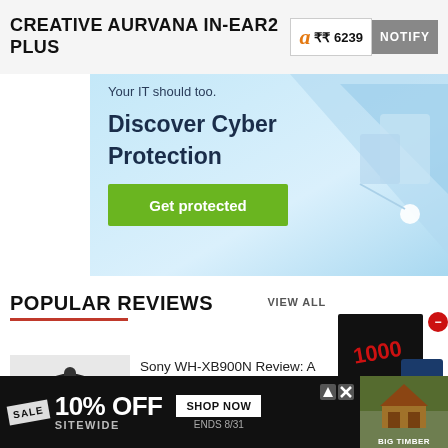CREATIVE AURVANA IN-EAR2 PLUS
₹₹ 6239  NOTIFY
[Figure (advertisement): Cyber protection ad banner with text 'Your IT should too. Discover Cyber Protection' and a green 'Get protected' button, blue geometric background with tech imagery]
POPULAR REVIEWS
VIEW ALL
[Figure (photo): Black Sony WH-XB900N over-ear headphones product photo on white background]
Sony WH-XB900N Review: A bass-heavy alternative to the Sony WH-1000XM3
[Figure (advertisement): Discount popup showing percentage off symbol in orange on dark blue background with red circle]
[Figure (advertisement): Bottom banner ad: SALE 10% OFF SITEWIDE, SHOP NOW, ENDS 8/31, BIG TIMBER]